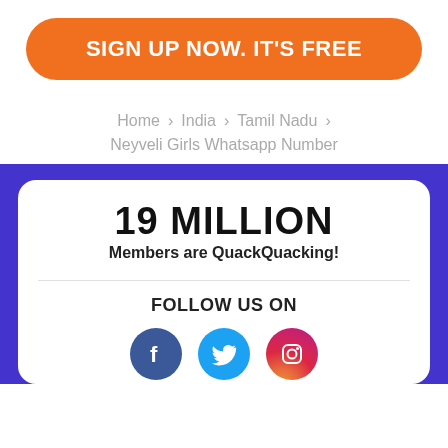SIGN UP NOW. IT'S FREE
Home > India > Tamil Nadu > Neyveli Girls Whatsapp Number
19 MILLION
Members are QuackQuacking!
FOLLOW US ON
[Figure (infographic): Social media icons: Facebook (blue circle), Twitter (cyan circle), Instagram (gradient circle)]